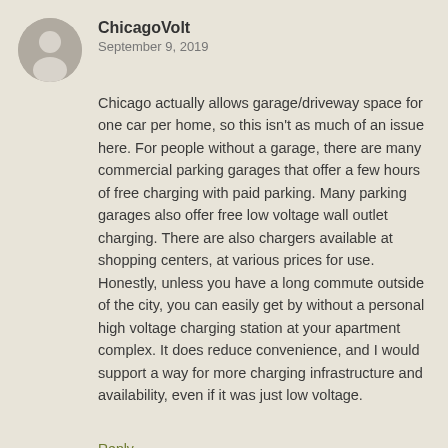[Figure (illustration): Gray circular avatar placeholder with a silhouette of a person]
ChicagoVolt
September 9, 2019
Chicago actually allows garage/driveway space for one car per home, so this isn't as much of an issue here. For people without a garage, there are many commercial parking garages that offer a few hours of free charging with paid parking. Many parking garages also offer free low voltage wall outlet charging. There are also chargers available at shopping centers, at various prices for use. Honestly, unless you have a long commute outside of the city, you can easily get by without a personal high voltage charging station at your apartment complex. It does reduce convenience, and I would support a way for more charging infrastructure and availability, even if it was just low voltage.
Reply
[Figure (photo): Circular photo of Mr. Money Mustache, a man with short dark hair]
Mr. Money Mustache
September 9, 2019
And also, in most cases dense enough to have apartments, no driveways, and limited street